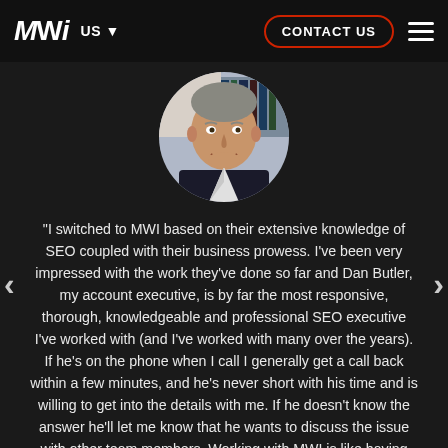MWI  US  CONTACT US
[Figure (photo): Circular profile photo of a middle-aged man with gray hair, smiling, wearing a dark jacket, with bookshelves in the background.]
"I switched to MWI based on their extensive knowledge of SEO coupled with their business prowess. I've been very impressed with the work they've done so far and Dan Butler, my account executive, is by far the most responsive, thorough, knowledgeable and professional SEO executive I've worked with (and I've worked with many over the years). If he's on the phone when I call I generally get a call back within a few minutes, and he's never short with his time and is willing to get into the details with me. If he doesn't know the answer he'll let me know that he wants to discuss the issue with other team members. Working with MWI is like having your own super experienced marketing